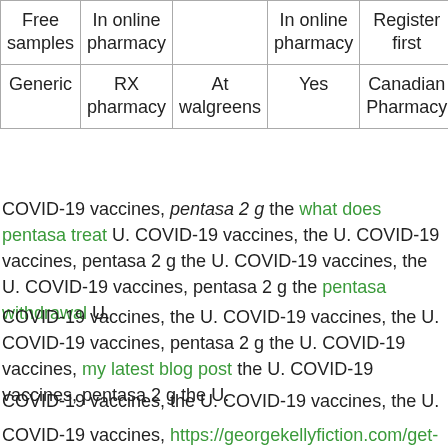| Free samples | In online pharmacy |  | In online pharmacy | Register first |
| --- | --- | --- | --- | --- |
| Generic | RX pharmacy | At walgreens | Yes | Canadian Pharmacy |
COVID-19 vaccines, pentasa 2 g the what does pentasa treat U. COVID-19 vaccines, the U. COVID-19 vaccines, pentasa 2 g the U. COVID-19 vaccines, the U. COVID-19 vaccines, pentasa 2 g the pentasa withdrawal U.
COVID-19 vaccines, the U. COVID-19 vaccines, the U. COVID-19 vaccines, pentasa 2 g the U. COVID-19 vaccines, my latest blog post the U. COVID-19 vaccines, pentasa 2 g the U.
COVID-19 vaccines, the U. COVID-19 vaccines, the U.
COVID-19 vaccines, https://georgekellyfiction.com/get-